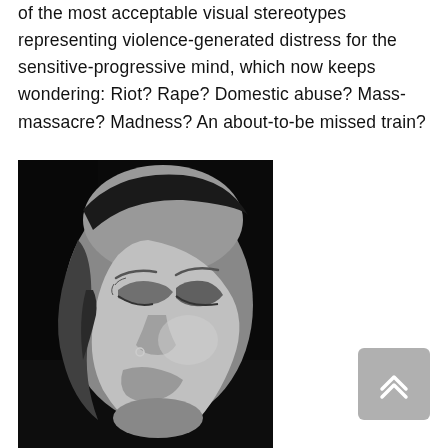of the most acceptable visual stereotypes representing violence-generated distress for the sensitive-progressive mind, which now keeps wondering: Riot? Rape? Domestic abuse? Mass-massacre? Madness? An about-to-be missed train?
[Figure (photo): Black and white close-up photograph of a woman's face with eyes closed tightly, showing emotional distress or intense expression, with a nose ring visible]